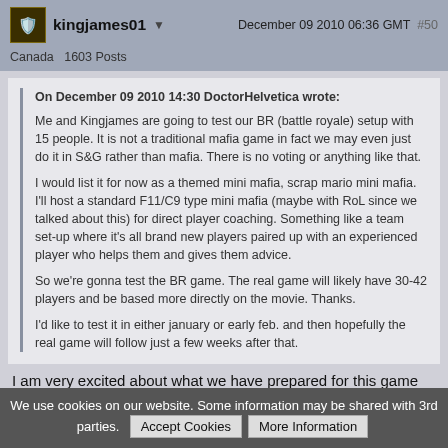kingjames01  December 09 2010 06:36 GMT  #50
Canada  1603 Posts
On December 09 2010 14:30 DoctorHelvetica wrote:
Me and Kingjames are going to test our BR (battle royale) setup with 15 people. It is not a traditional mafia game in fact we may even just do it in S&G rather than mafia. There is no voting or anything like that.

I would list it for now as a themed mini mafia, scrap mario mini mafia. I'll host a standard F11/C9 type mini mafia (maybe with RoL since we talked about this) for direct player coaching. Something like a team set-up where it's all brand new players paired up with an experienced player who helps them and gives them advice.

So we're gonna test the BR game. The real game will likely have 30-42 players and be based more directly on the movie. Thanks.

I'd like to test it in either january or early feb. and then hopefully the real game will follow just a few weeks after that.
I am very excited about what we have prepared for this game already. The game will challenge your ability to strategize, cooperate, lie, analyze and survive. These are all things that Mafia players should be familiar with... =)
A typical game will be fast-paced and action-packed. Players are not
We use cookies on our website. Some information may be shared with 3rd parties.  Accept Cookies   More Information